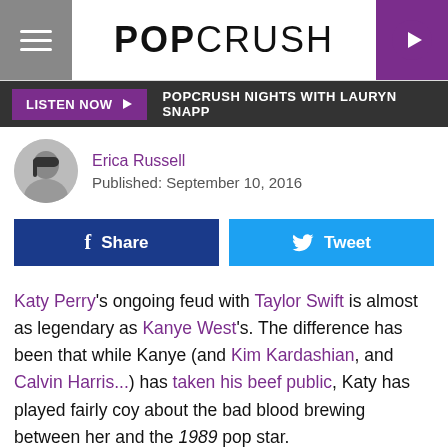POPCRUSH
LISTEN NOW ▶  POPCRUSH NIGHTS WITH LAURYN SNAPP
Erica Russell
Published: September 10, 2016
f Share   Tweet
Katy Perry's ongoing feud with Taylor Swift is almost as legendary as Kanye West's. The difference has been that while Kanye (and Kim Kardashian, and Calvin Harris...) has taken his beef public, Katy has played fairly coy about the bad blood brewing between her and the 1989 pop star.
On Saturday (September 10), the "Rise" singer addressed the contempt between her and Taylor publicly and overtly for what seems to be the first time (notwithstanding any...